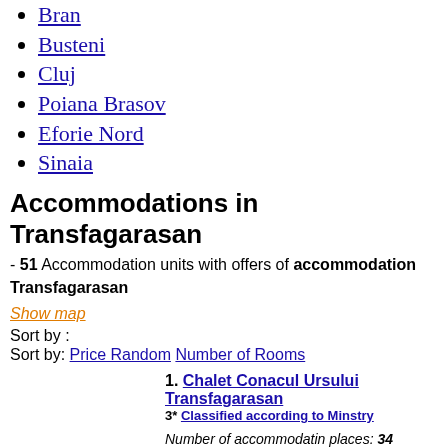Bran
Busteni
Cluj
Poiana Brasov
Eforie Nord
Sinaia
Accommodations in Transfagarasan
- 51 Accommodation units with offers of accommodation Transfagarasan
Show map
Sort by :
Sort by: Price Random Number of Rooms
1. Chalet Conacul Ursului Transfagarasan
3* Classified according to Minstry
Number of accommodatin places: 34
Number of rooms: 17     5650.87(km from the city center)
Transfagarasan, KM 104 - Piscu Negru, jud. Arges
More -- accommodation Transfagarasan / Arges
Reviews number: 1
Facilities: Restaurant, Internet